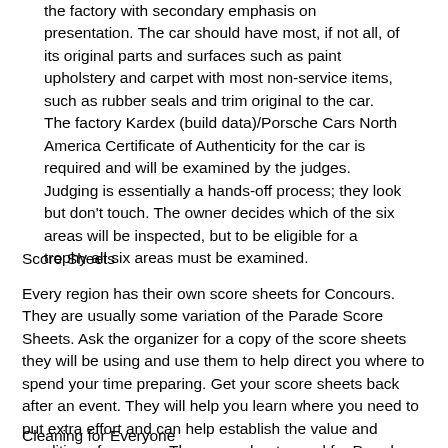the factory with secondary emphasis on presentation. The car should have most, if not all, of its original parts and surfaces such as paint upholstery and carpet with most non-service items, such as rubber seals and trim original to the car. The factory Kardex (build data)/Porsche Cars North America Certificate of Authenticity for the car is required and will be examined by the judges. Judging is essentially a hands-off process; they look but don't touch. The owner decides which of the six areas will be inspected, but to be eligible for a trophy all six areas must be examined.
Score Sheets
Every region has their own score sheets for Concours. They are usually some variation of the Parade Score Sheets. Ask the organizer for a copy of the score sheets they will be using and use them to help direct you where to spend your time preparing. Get your score sheets back after an event. They will help you learn where you need to put extra effort and can help establish the value and condition of your car. The score sheets used for Parade can be found on the PCA web site (www.pca.org) in the library section under Parade Competition Rules.
Cleaning for Everyone